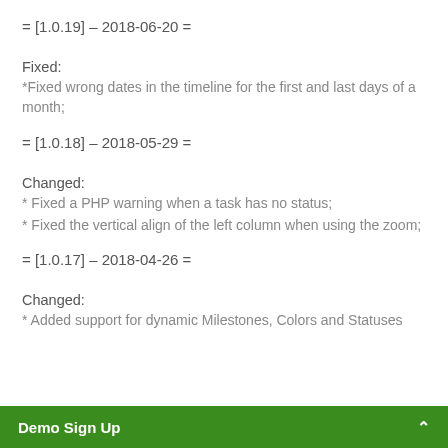= [1.0.19] – 2018-06-20 =
Fixed:
*Fixed wrong dates in the timeline for the first and last days of a month;
= [1.0.18] – 2018-05-29 =
Changed:
* Fixed a PHP warning when a task has no status;
* Fixed the vertical align of the left column when using the zoom;
= [1.0.17] – 2018-04-26 =
Changed:
* Added support for dynamic Milestones, Colors and Statuses
Demo Sign Up